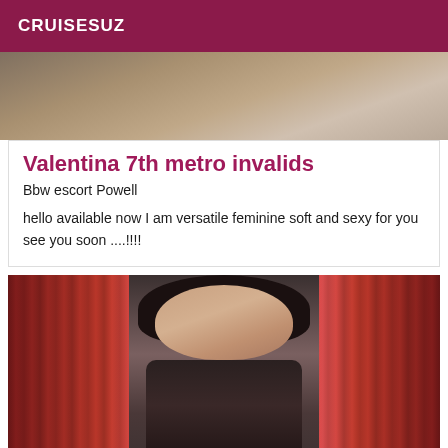CRUISESUZ
[Figure (photo): Partial photo of person, cropped at top]
Valentina 7th metro invalids
Bbw escort Powell
hello available now I am versatile feminine soft and sexy for you see you soon ....!!!!
[Figure (photo): Woman with long dark hair standing between red curtains, smiling]